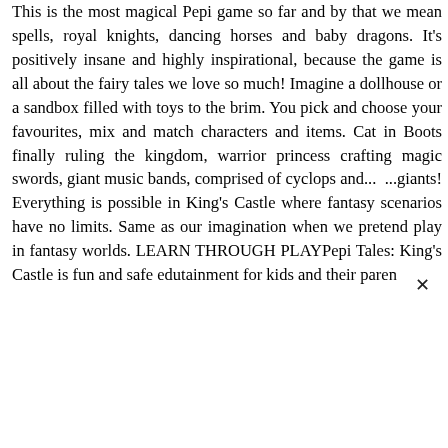This is the most magical Pepi game so far and by that we mean spells, royal knights, dancing horses and baby dragons. It's positively insane and highly inspirational, because the game is all about the fairy tales we love so much! Imagine a dollhouse or a sandbox filled with toys to the brim. You pick and choose your favourites, mix and match characters and items. Cat in Boots finally ruling the kingdom, warrior princess crafting magic swords, giant music bands, comprised of cyclops and... ...giants! Everything is possible in King's Castle where fantasy scenarios have no limits. Same as our imagination when we pretend play in fantasy worlds. LEARN THROUGH PLAYPepi Tales: King's Castle is fun and safe edutainment for kids and their paren